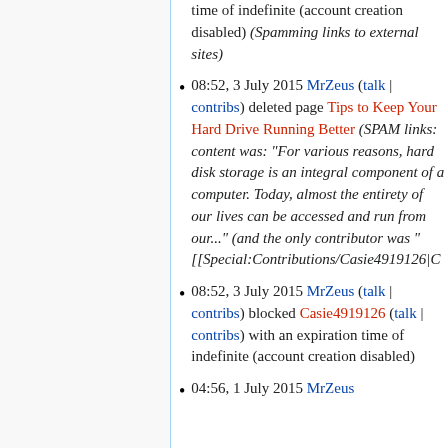time of indefinite (account creation disabled) (Spamming links to external sites)
08:52, 3 July 2015 MrZeus (talk | contribs) deleted page Tips to Keep Your Hard Drive Running Better (SPAM links: content was: "For various reasons, hard disk storage is an integral component of a computer. Today, almost the entirety of our lives can be accessed and run from our..." (and the only contributor was " [[Special:Contributions/Casie4919126|C
08:52, 3 July 2015 MrZeus (talk | contribs) blocked Casie4919126 (talk | contribs) with an expiration time of indefinite (account creation disabled)
04:56, 1 July 2015 MrZeus